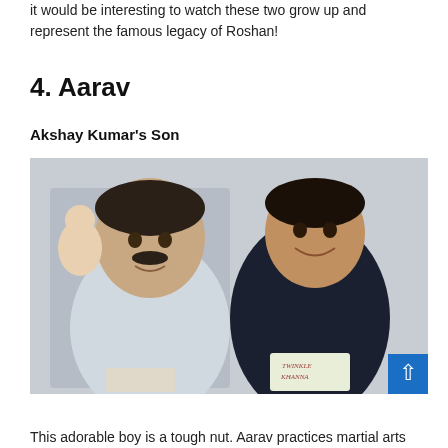it would be interesting to watch these two grow up and represent the famous legacy of Roshan!
4. Aarav
Akshay Kumar's Son
[Figure (photo): A man (Akshay Kumar) and a teenage boy (Aarav) standing together smiling at an event, both holding what appears to be a book with 'Twinkle Khanna' on the cover.]
This adorable boy is a tough nut. Aarav practices martial arts